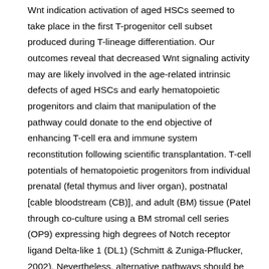Wnt indication activation of aged HSCs seemed to take place in the first T-progenitor cell subset produced during T-lineage differentiation. Our outcomes reveal that decreased Wnt signaling activity may are likely involved in the age-related intrinsic defects of aged HSCs and early hematopoietic progenitors and claim that manipulation of the pathway could donate to the end objective of enhancing T-cell era and immune system reconstitution following scientific transplantation. T-cell potentials of hematopoietic progenitors from individual prenatal (fetal thymus and liver organ), postnatal [cable bloodstream (CB)], and adult (BM) tissue (Patel through co-culture using a BM stromal cell series (OP9) expressing high degrees of Notch receptor ligand Delta-like 1 (DL1) (Schmitt & Zuniga-Pflucker, 2002). Nevertheless, alternative pathways should be activated together with or in cooperation with Notch signaling, because T-cell differentiation induced by Notch ligand by itself is blocked on the pre-T-cell stage (Reimann and research have demonstrated